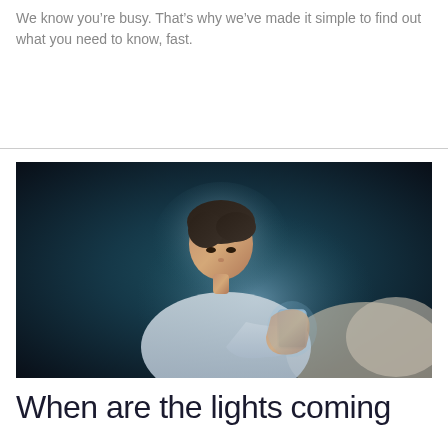We know you’re busy. That’s why we’ve made it simple to find out what you need to know, fast.
[Figure (photo): Woman with short hair sitting in the dark, illuminated by the blue glow of a smartphone she is holding and looking at.]
When are the lights coming